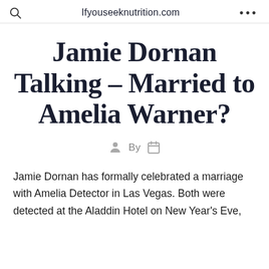Ifyouseeknutrition.com
Jamie Dornan Talking – Married to Amelia Warner?
By
Jamie Dornan has formally celebrated a marriage with Amelia Detector in Las Vegas. Both were detected at the Aladdin Hotel on New Year's Eve,